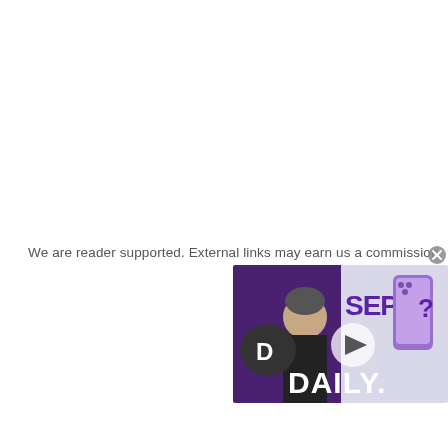We are reader supported. External links may earn us a commission.
[Figure (screenshot): Video thumbnail showing a man in a black shirt next to text reading 'SEP...?' and 'DAILY.' with a purple iPhone 14 Pro, overlaid with a play button. A dark circular chat bubble logo with 'D' is visible on the left.]